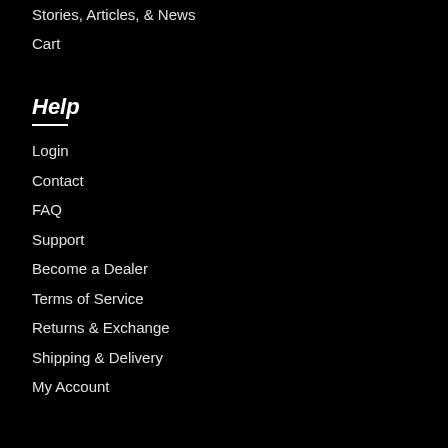Stories, Articles, & News
Cart
Help
Login
Contact
FAQ
Support
Become a Dealer
Terms of Service
Returns & Exchange
Shipping & Delivery
My Account